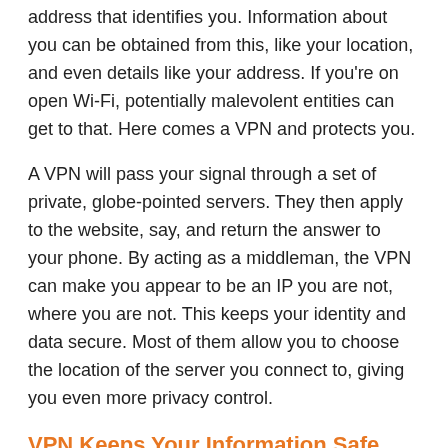address that identifies you. Information about you can be obtained from this, like your location, and even details like your address. If you're on open Wi-Fi, potentially malevolent entities can get to that. Here comes a VPN and protects you.
A VPN will pass your signal through a set of private, globe-pointed servers. They then apply to the website, say, and return the answer to your phone. By acting as a middleman, the VPN can make you appear to be an IP you are not, where you are not. This keeps your identity and data secure. Most of them allow you to choose the location of the server you connect to, giving you even more privacy control.
VPN Keeps Your Information Safe From Being Exposed.
Furthermore, a VPN will encrypt those data messages in order to prevent the content from being exposed. This means